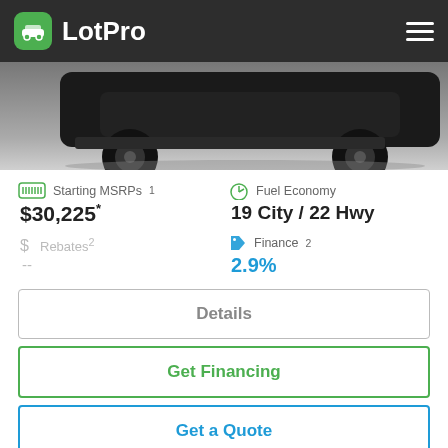LotPro
[Figure (photo): Partial front/bottom view of a black vehicle showing bumper and wheel on a white/grey gradient background]
Starting MSRPs¹ $30,225*
Fuel Economy 19 City / 22 Hwy
Rebates² --
Finance² 2.9%
Details
Get Financing
Get a Quote
2023 Toyota Tundra 4WD